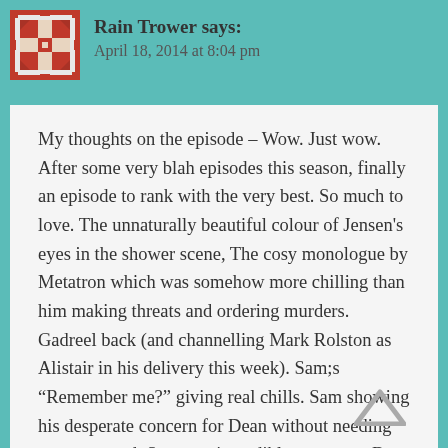Rain Trower says: April 18, 2014 at 8:04 pm
My thoughts on the episode – Wow. Just wow. After some very blah episodes this season, finally an episode to rank with the very best. So much to love. The unnaturally beautiful colour of Jensen's eyes in the shower scene, The cosy monologue by Metatron which was somehow more chilling than him making threats and ordering murders. Gadreel back (and channelling Mark Rolston as Alistair in his delivery this week). Sam;s “Remember me?” giving real chills. Sam showing his desperate concern for Dean without needing to say a word. So many incredible moments. But nothing